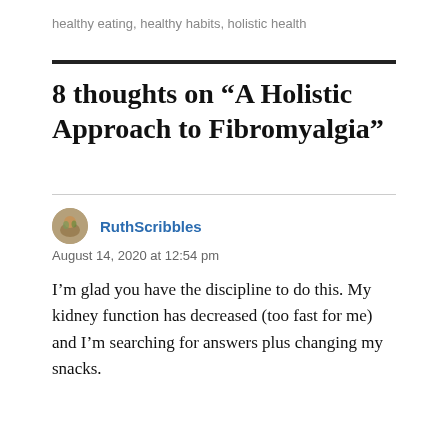healthy eating, healthy habits, holistic health
8 thoughts on “A Holistic Approach to Fibromyalgia”
RuthScribbles
August 14, 2020 at 12:54 pm
I’m glad you have the discipline to do this. My kidney function has decreased (too fast for me) and I’m searching for answers plus changing my snacks.